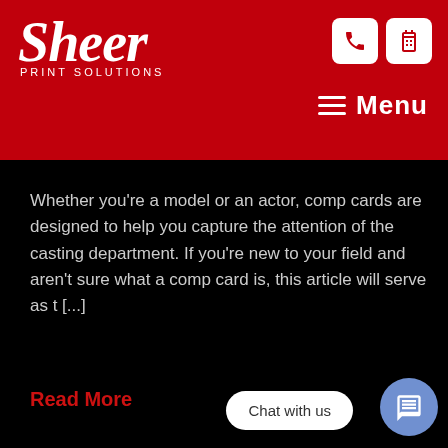Sheer Print Solutions
Whether you're a model or an actor, comp cards are designed to help you capture the attention of the casting department. If you're new to your field and aren't sure what a comp card is, this article will serve as t [...]
Read More